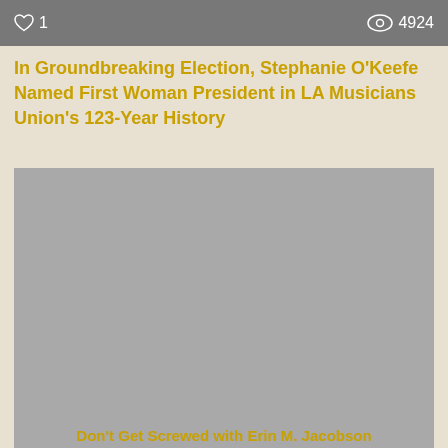♡ 1    👁 4924
In Groundbreaking Election, Stephanie O'Keefe Named First Woman President in LA Musicians Union's 123-Year History
[Figure (photo): Gray placeholder image for article photo]
♡ 2    👁 324
Don't Get Screwed with Erin M. Jacobson